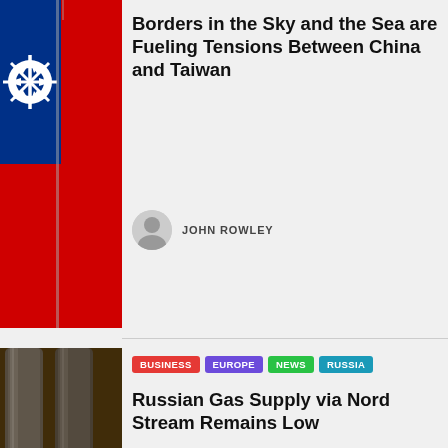[Figure (photo): Taiwan flag waving against blue sky background]
Borders in the Sky and the Sea are Fueling Tensions Between China and Taiwan
JOHN ROWLEY
[Figure (photo): Industrial pipes or pipeline infrastructure close-up]
BUSINESS EUROPE NEWS RUSSIA
Russian Gas Supply via Nord Stream Remains Low
JOHN ROWLEY
[Figure (photo): Partial view of what appears to be a watch or camera]
BUSINESS NEWS